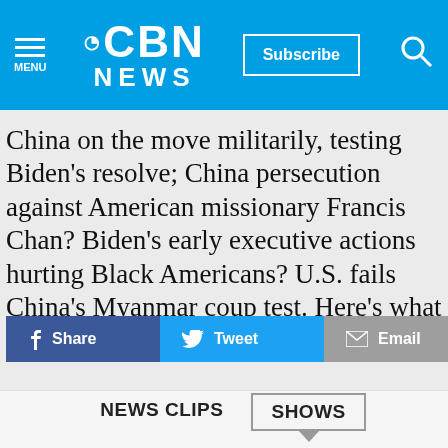[Figure (logo): CBN News logo with hamburger menu icon on left, Subscribe button, and search icon on right, all on blue background]
China on the move militarily, testing Biden’s resolve; China persecution against American missionary Francis Chan? Biden’s early executive actions hurting Black Americans? U.S. fails China’s Myanmar coup test. Here’s what Joe Biden should do now.
Share | Tweet | Email
NEWS CLIPS
SHOWS
24/7 NEWS CHANNEL